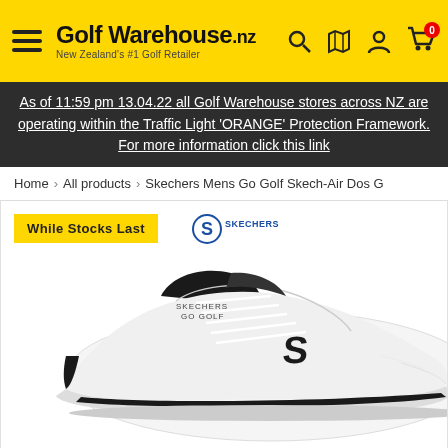Golf Warehouse.nz - New Zealand's #1 Golf Retailer
As of 11:59 pm 13.04.22 all Golf Warehouse stores across NZ are operating within the Traffic Light 'ORANGE' Protection Framework. For more information click this link
Home > All products > Skechers Mens Go Golf Skech-Air Dos G
While Stocks Last
[Figure (photo): White and black Skechers Go Golf shoe photographed from side-front angle on white background, showing laces, S logo on side, and black tongue/collar.]